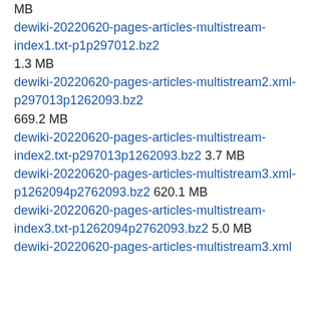MB dewiki-20220620-pages-articles-multistream-index1.txt-p1p297012.bz2 1.3 MB dewiki-20220620-pages-articles-multistream2.xml-p297013p1262093.bz2 669.2 MB dewiki-20220620-pages-articles-multistream-index2.txt-p297013p1262093.bz2 3.7 MB dewiki-20220620-pages-articles-multistream3.xml-p1262094p2762093.bz2 620.1 MB dewiki-20220620-pages-articles-multistream-index3.txt-p1262094p2762093.bz2 5.0 MB dewiki-20220620-pages-articles-multistream3.xml